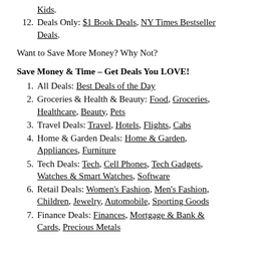Kids.
Deals Only: $1 Book Deals, NY Times Bestseller Deals.
Want to Save More Money? Why Not?
Save Money & Time – Get Deals You LOVE!
All Deals: Best Deals of the Day
Groceries & Health & Beauty: Food, Groceries, Healthcare, Beauty, Pets
Travel Deals: Travel, Hotels, Flights, Cabs
Home & Garden Deals: Home & Garden, Appliances, Furniture
Tech Deals: Tech, Cell Phones, Tech Gadgets, Watches & Smart Watches, Software
Retail Deals: Women's Fashion, Men's Fashion, Children, Jewelry, Automobile, Sporting Goods
Finance Deals: Finances, Mortgage & Bank & Cards, Precious Metals